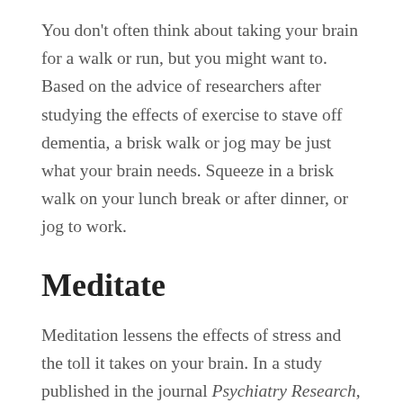You don't often think about taking your brain for a walk or run, but you might want to. Based on the advice of researchers after studying the effects of exercise to stave off dementia, a brisk walk or jog may be just what your brain needs. Squeeze in a brisk walk on your lunch break or after dinner, or jog to work.
Meditate
Meditation lessens the effects of stress and the toll it takes on your brain. In a study published in the journal Psychiatry Research, scientists found that regardless of what type of meditation participants performed, blood flow to the brain improved. Take several minutes, or longer if you can, out of your day to